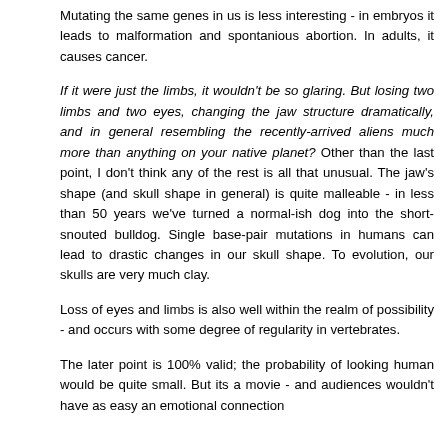Mutating the same genes in us is less interesting - in embryos it leads to malformation and spontanious abortion. In adults, it causes cancer.
If it were just the limbs, it wouldn't be so glaring. But losing two limbs and two eyes, changing the jaw structure dramatically, and in general resembling the recently-arrived aliens much more than anything on your native planet? Other than the last point, I don't think any of the rest is all that unusual. The jaw's shape (and skull shape in general) is quite malleable - in less than 50 years we've turned a normal-ish dog into the short-snouted bulldog. Single base-pair mutations in humans can lead to drastic changes in our skull shape. To evolution, our skulls are very much clay.
Loss of eyes and limbs is also well within the realm of possibility - and occurs with some degree of regularity in vertebrates.
The later point is 100% valid; the probability of looking human would be quite small. But its a movie - and audiences wouldn't have as easy an emotional connection